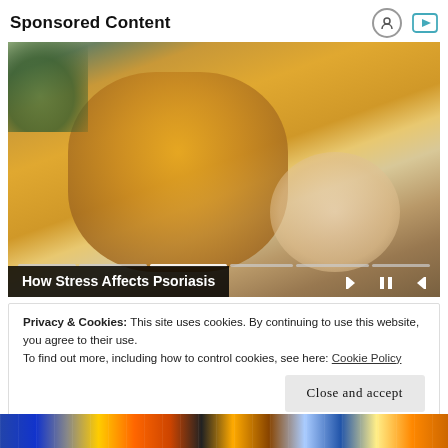Sponsored Content
[Figure (photo): A blonde woman in a yellow sweater sitting on a couch, scratching or examining her arm, with a video player overlay showing media controls and progress bar segments. Caption reads 'How Stress Affects Psoriasis'.]
How Stress Affects Psoriasis
Privacy & Cookies: This site uses cookies. By continuing to use this website, you agree to their use.
To find out more, including how to control cookies, see here: Cookie Policy
Close and accept
[Figure (photo): A colorful strip of photos at the bottom of the page, partially visible.]